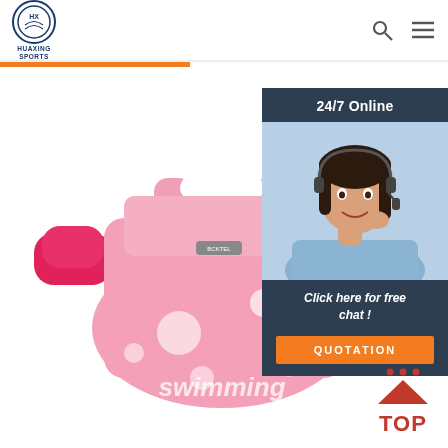HUAXING SPORTS logo and navigation icons
[Figure (photo): Pink children's swimming vest/life jacket with hot pink arm floats and white polka dot pattern, text 'swimming' on front]
[Figure (photo): Customer service chat widget showing a woman with headset, '24/7 Online' header, 'Click here for free chat!' text and orange QUOTATION button]
QUOTATION
[Figure (infographic): Red TOP button with upward triangle arrow and dots, for scrolling to top of page]